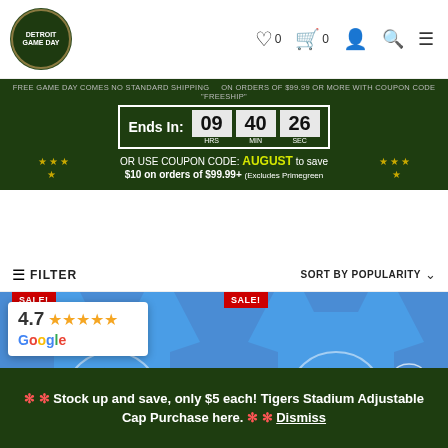Detroit Game Day | Navigation header with wishlist (0), cart (0), user, search, and menu icons
FREE GAME DAY COMES NO STANDARD SHIPPING on orders of $99.99 or more with coupon code "FREESHIP"
Ends In: 09 HRS 40 MIN 26 SEC
OR USE COUPON CODE: AUGUST to save $10 on orders of $99.99+ (Excludes Primegreen
FILTER   SORT BY POPULARITY
[Figure (screenshot): Two Detroit Lions blue t-shirts with lion logo, each tagged SALE!, displayed side by side in a product grid]
[Figure (other): Google review card showing 4.7 star rating with 5 orange stars and Google logo]
** Stock up and save, only $5 each! Tigers Stadium Adjustable Cap Purchase here. ** Dismiss